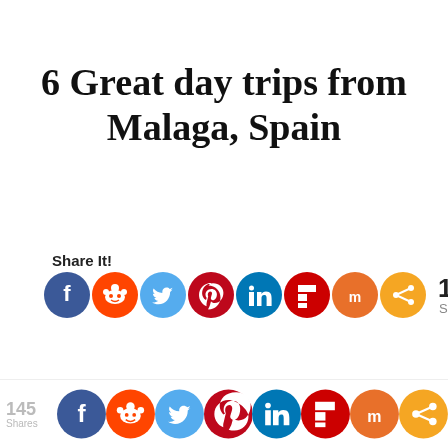6 Great day trips from Malaga, Spain
Share It!
[Figure (infographic): Row of social share buttons: Facebook (blue), Reddit (orange), Twitter (light blue), Pinterest (red), LinkedIn (dark teal), Flipboard (red), Mix (orange-red), Share (orange). Share count: 145 Shares.]
The Costa del Sol is one of the most
[Figure (infographic): Sticky bottom bar with 145 shares count and social share icons: Facebook, Reddit, Twitter, Pinterest, LinkedIn, Flipboard, Mix, Share.]